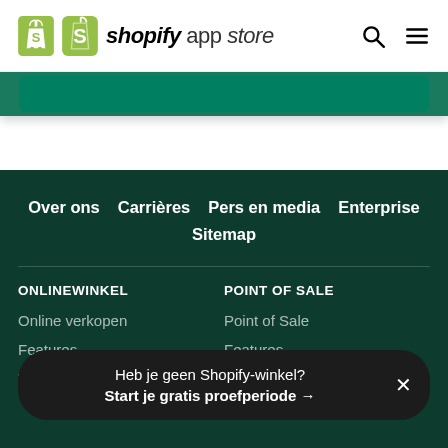shopify app store
[Figure (screenshot): Shopify App Store header with logo, search icon, and hamburger menu]
Over ons   Carrières   Pers en media   Enterprise
Sitemap
ONLINEWINKEL
POINT OF SALE
Online verkopen
Point of Sale
Features
Features
Voorbeelden
Heb je geen Shopify-winkel? Start je gratis proefperiode →
Dropshipping